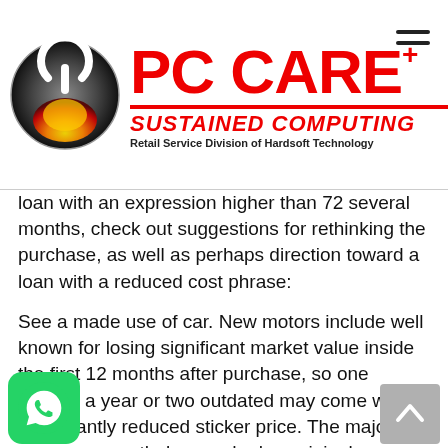[Figure (logo): PC Care+ Sustained Computing logo with power button icon and red text]
loan with an expression higher than 72 several months, check out suggestions for rethinking the purchase, as well as perhaps direction toward a loan with a reduced cost phrase:
See a made use of car. New motors include well known for losing significant market value inside the first 12 months after purchase, so one which’s a year or two outdated may come with a significantly reduced sticker price. The majority are even nonetheless under her original manufacturer warranties.
Enhance your deposit. If you’re able to add another 5% to cent of the automobile cost towards down-payment, you’ll lower the levels you need to borrow—